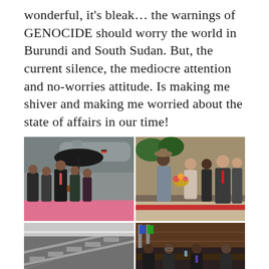wonderful, it's bleak… the warnings of GENOCIDE should worry the world in Burundi and South Sudan. But, the current silence, the mediocre attention and no-worries attitude. Is making me shiver and making me worried about the state of affairs in our time!
[Figure (photo): Collage of four photographs: top-left shows officials walking on a pink carpet at an airport with an umbrella in rainy weather; top-right shows a dignitary receiving flowers from a woman while others look on; bottom-left shows an escalator interior; bottom-right shows officials seated at a formal meeting.]